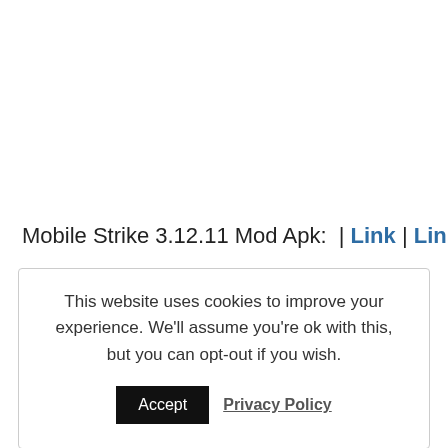Mobile Strike 3.12.11 Mod Apk:  | Link | Link2
This website uses cookies to improve your experience. We'll assume you're ok with this, but you can opt-out if you wish. [Accept] [Privacy Policy]